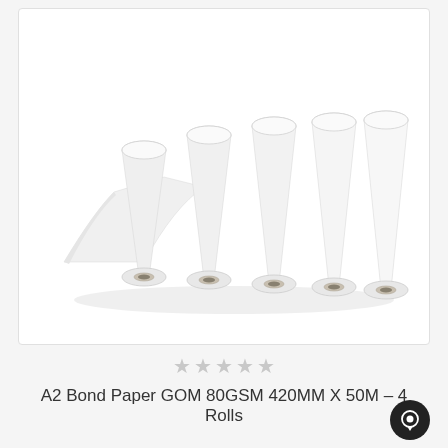[Figure (photo): Five white paper rolls lying diagonally, showing their hollow cardboard cores at the right end, with a sheet of paper unfurling from the leftmost roll. Product photo on white background.]
★★★★★ (star rating, empty/grey stars)
A2 Bond Paper GOM 80GSM 420MM X 50M – 4 Rolls